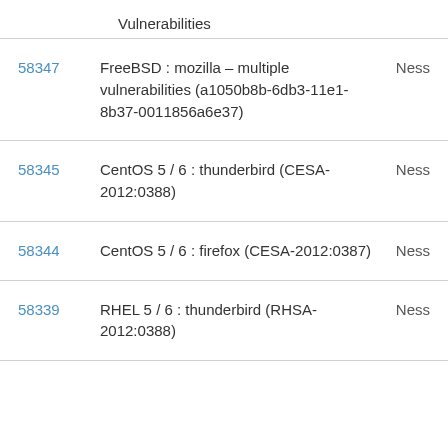Vulnerabilities
58347 | FreeBSD : mozilla – multiple vulnerabilities (a1050b8b-6db3-11e1-8b37-0011856a6e37) | Ness
58345 | CentOS 5 / 6 : thunderbird (CESA-2012:0388) | Ness
58344 | CentOS 5 / 6 : firefox (CESA-2012:0387) | Ness
58339 | RHEL 5 / 6 : thunderbird (RHSA-2012:0388) | Ness